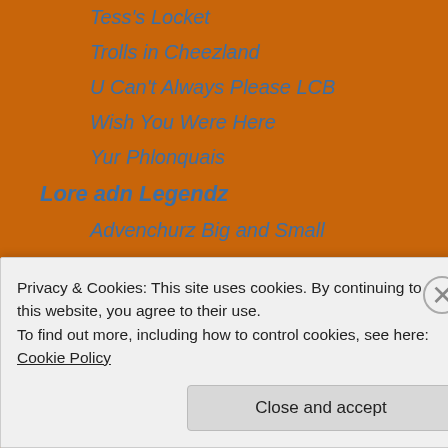Tess's Locket
Trolls in Cheezland
U Can't Always Please LCB
Wish You Were Here
Yur Phlonquais
Lore adn Legendz
Advenchurz Big and Small
Eventz
General Sillynessez
LBT Produckshuns
Mewsical Misadvenchurz
Originz and Furstz
True Life Storiez
Privacy & Cookies: This site uses cookies. By continuing to use this website, you agree to their use.
To find out more, including how to control cookies, see here: Cookie Policy
Close and accept